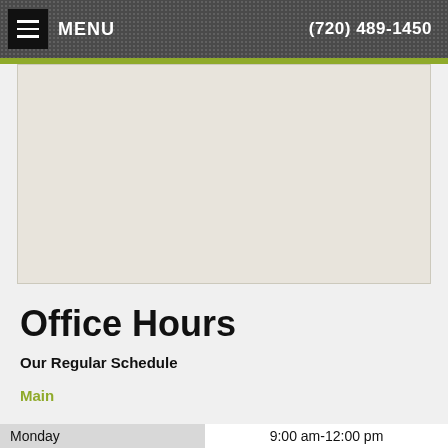MENU  (720) 489-1450
[Figure (map): A light-colored map placeholder area showing a street map in muted beige/gray tones]
Office Hours
Our Regular Schedule
Main
| Day | Hours |
| --- | --- |
| Monday | 9:00 am-12:00 pm |